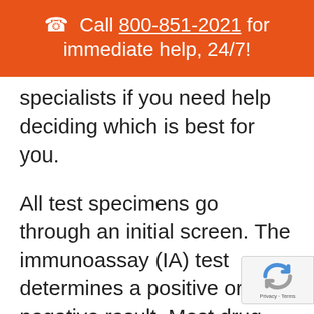☎ Call 800-851-2021 for immediate help, 24/7!
specialists if you need help deciding which is best for you.
All test specimens go through an initial screen. The immunoassay (IA) test determines a positive or negative result. Most drug tests are negative and this cost-efficient test saves employers money because no further testing is needed.